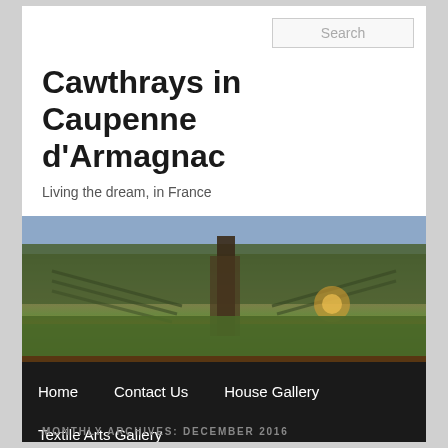Search
Cawthrays in Caupenne d'Armagnac
Living the dream, in France
[Figure (photo): Autumn vineyard landscape with fallen orange leaves on green grass, trees and vine rows in background, warm sunlight]
Home   Contact Us   House Gallery   Textile Arts Gallery
MONTHLY ARCHIVES: DECEMBER 2016